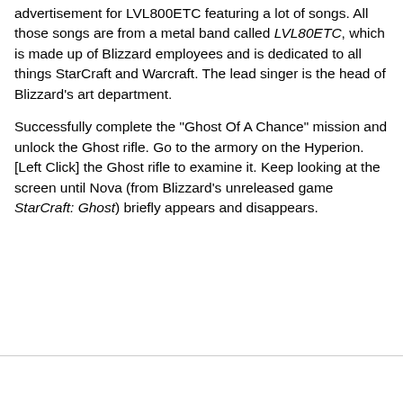advertisement for LVL800ETC featuring a lot of songs. All those songs are from a metal band called LVL80ETC, which is made up of Blizzard employees and is dedicated to all things StarCraft and Warcraft. The lead singer is the head of Blizzard's art department.
Successfully complete the "Ghost Of A Chance" mission and unlock the Ghost rifle. Go to the armory on the Hyperion. [Left Click] the Ghost rifle to examine it. Keep looking at the screen until Nova (from Blizzard's unreleased game StarCraft: Ghost) briefly appears and disappears.